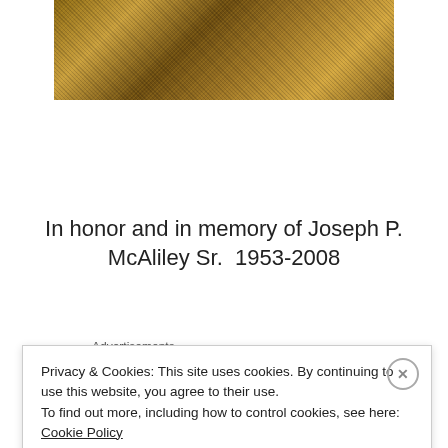[Figure (photo): Close-up photo of a swarm of bees, showing dense golden-brown mass of bees]
In honor and in memory of Joseph P. McAliley Sr.  1953-2008
Advertisements
[Figure (logo): Sensei logo - white circle with tree icon and 'sensei' text on dark background]
Privacy & Cookies: This site uses cookies. By continuing to use this website, you agree to their use.
To find out more, including how to control cookies, see here: Cookie Policy
Close and accept